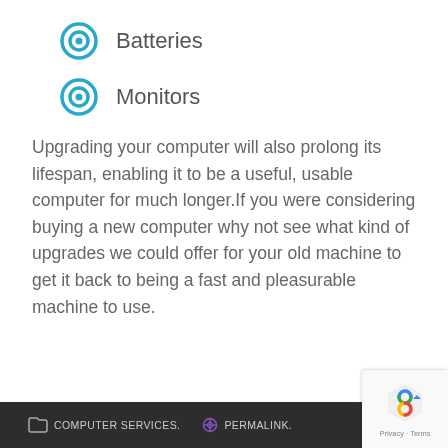Batteries
Monitors
Upgrading your computer will also prolong its lifespan, enabling it to be a useful, usable computer for much longer.If you were considering buying a new computer why not see what kind of upgrades we could offer for your old machine to get it back to being a fast and pleasurable machine to use.
COMPUTER SERVICES. PERMALINK.